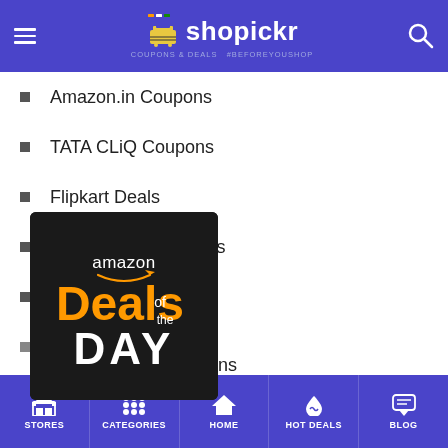shopickr — Coupons & Deals #BeforeYouShop
Amazon.in Coupons
TATA CLiQ Coupons
Flipkart Deals
MakeMyTrip Coupons
Paytm Coupons
[Figure (screenshot): Amazon Deals of the Day promotional banner image with orange and white text on black background]
Pepperfry Coupons
All Stores
STORES  CATEGORIES  HOME  HOT DEALS  BLOG